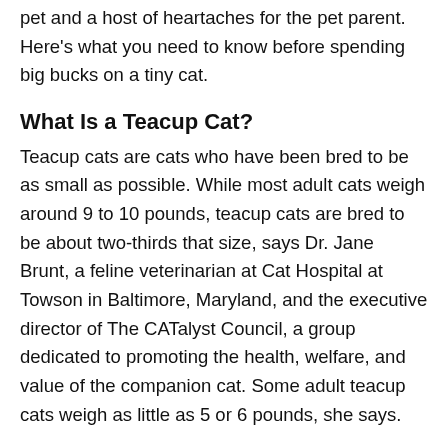pet and a host of heartaches for the pet parent. Here's what you need to know before spending big bucks on a tiny cat.
What Is a Teacup Cat?
Teacup cats are cats who have been bred to be as small as possible. While most adult cats weigh around 9 to 10 pounds, teacup cats are bred to be about two-thirds that size, says Dr. Jane Brunt, a feline veterinarian at Cat Hospital at Towson in Baltimore, Maryland, and the executive director of The CATalyst Council, a group dedicated to promoting the health, welfare, and value of the companion cat. Some adult teacup cats weigh as little as 5 or 6 pounds, she says.
To make a cat that tiny typically involves mating an